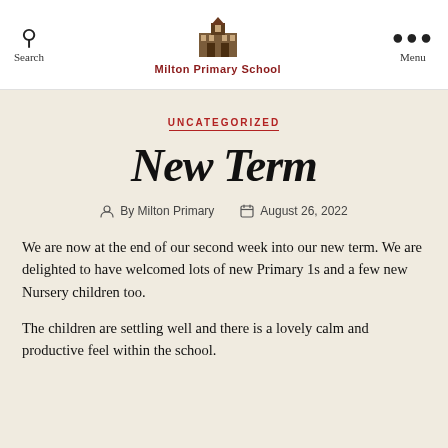Search | Milton Primary School | Menu
UNCATEGORIZED
New Term
By Milton Primary  August 26, 2022
We are now at the end of our second week into our new term. We are delighted to have welcomed lots of new Primary 1s and a few new Nursery children too.
The children are settling well and there is a lovely calm and productive feel within the school.